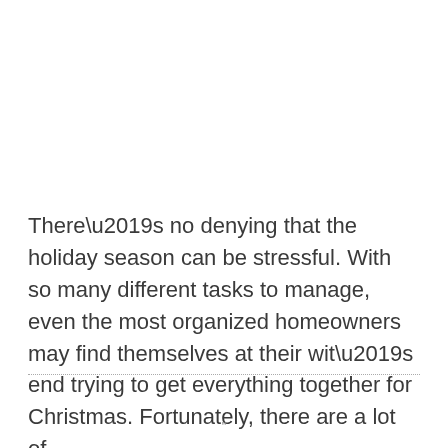There’s no denying that the holiday season can be stressful. With so many different tasks to manage, even the most organized homeowners may find themselves at their wit’s end trying to get everything together for Christmas. Fortunately, there are a lot of